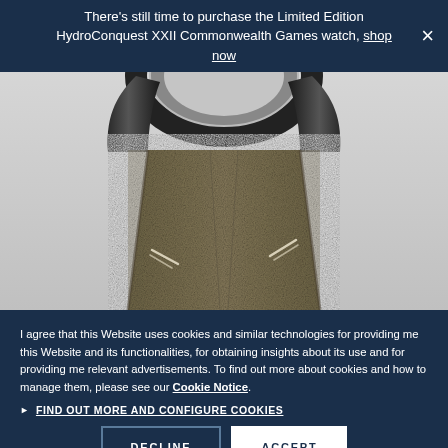There's still time to purchase the Limited Edition HydroConquest XXII Commonwealth Games watch, shop now
[Figure (photo): Close-up photo of a watch strap — olive/khaki colored textured fabric strap with white stitched details, against a light gray background, with dark metallic watch case visible at the top]
I agree that this Website uses cookies and similar technologies for providing me this Website and its functionalities, for obtaining insights about its use and for providing me relevant advertisements. To find out more about cookies and how to manage them, please see our Cookie Notice.
FIND OUT MORE AND CONFIGURE COOKIES
DECLINE
ACCEPT